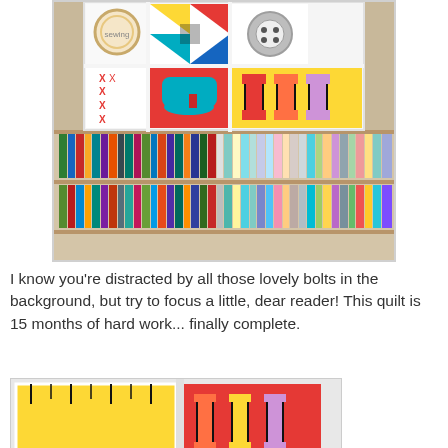[Figure (photo): A colorful patchwork quilt displayed in a sewing room, hung or draped in front of shelving with fabric bolts. Quilt blocks include sewing-themed motifs: an iron, thread spools, buttons, scissors, hoops, and geometric pin wheel shapes in bright colors (red, yellow, teal, black, white, orange).]
I know you're distracted by all those lovely bolts in the background, but try to focus a little, dear reader! This quilt is 15 months of hard work... finally complete.
[Figure (photo): Close-up angled photograph of the same colorful sewing-themed quilt laid on a surface, showing geometric patchwork blocks including a star block, a pinwheel block, a ruler block, and a scissor/tool block, all in vibrant teal, red, yellow, orange, black, and white fabrics.]